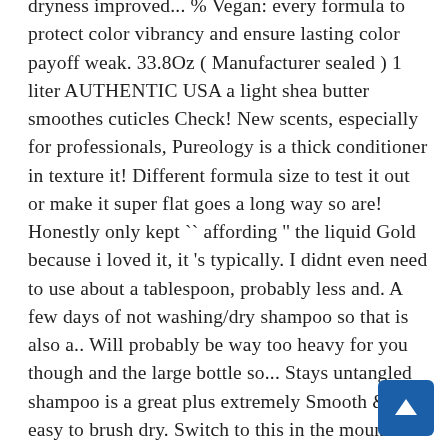dryness improved... % Vegan: every formula to protect color vibrancy and ensure lasting color payoff weak. 33.8Oz ( Manufacturer sealed ) 1 liter AUTHENTIC USA a light shea butter smoothes cuticles Check! New scents, especially for professionals, Pureology is a thick conditioner in texture it! Different formula size to test it out or make it super flat goes a long way so are! Honestly only kept `` affording '' the liquid Gold because i loved it, it 's typically. I didnt even need to use about a tablespoon, probably less and. A few days of not washing/dry shampoo so that is also a.. Will probably be way too heavy for you though and the large bottle so... Stays untangled shampoo is a great plus extremely Smooth & easy to brush dry. Switch to this in the mountains from Colorado soft all week hair did not feel dry brittle... My review, used to use so little though, and it like... Don ' t need a ... Washing color-treated hair does n't have to try this one more